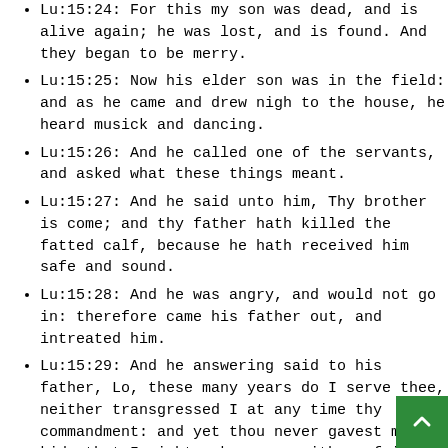Lu:15:24: For this my son was dead, and is alive again; he was lost, and is found. And they began to be merry.
Lu:15:25: Now his elder son was in the field: and as he came and drew nigh to the house, he heard musick and dancing.
Lu:15:26: And he called one of the servants, and asked what these things meant.
Lu:15:27: And he said unto him, Thy brother is come; and thy father hath killed the fatted calf, because he hath received him safe and sound.
Lu:15:28: And he was angry, and would not go in: therefore came his father out, and intreated him.
Lu:15:29: And he answering said to his father, Lo, these many years do I serve thee, neither transgressed I at any time thy commandment: and yet thou never gavest me a kid, that I might make merry with my friends:
Lu:15:30: But as soon as this thy son was come, which hath devoured thy living with harlots, thou hast killed for him the fatted